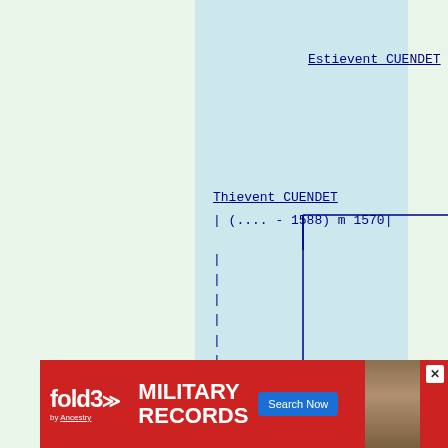[Figure (organizational-chart): Genealogy/family tree chart showing ancestors of Catherine CUENDET. The chart shows: Thievent CUENDET (.... - 1588) m 1570 linking up to Estievent CUENDET, and George PAPAUX (.... - 1577) m 1570 linking up to Aime PAPAUX. Catherine CUENDET is the subject (--Catherine CUENDET). Lines connect the family members in a pedigree chart format. Blue text on light blue/green background.]
[Figure (infographic): Advertisement banner for fold3 Military Records by Ancestry website, with red background, fold3 logo, 'MILITARY RECORDS' text, Search Now button, and a photo of a soldier.]